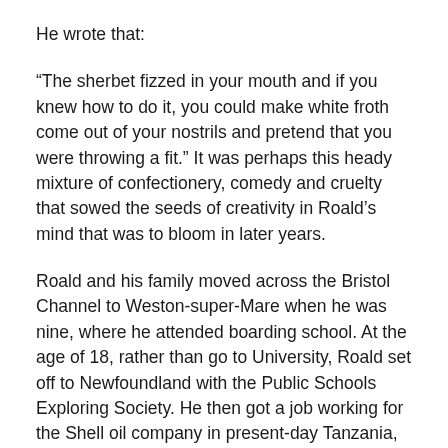He wrote that:
“The sherbet fizzed in your mouth and if you knew how to do it, you could make white froth come out of your nostrils and pretend that you were throwing a fit.” It was perhaps this heady mixture of confectionery, comedy and cruelty that sowed the seeds of creativity in Roald’s mind that was to bloom in later years.
Roald and his family moved across the Bristol Channel to Weston-super-Mare when he was nine, where he attended boarding school. At the age of 18, rather than go to University, Roald set off to Newfoundland with the Public Schools Exploring Society. He then got a job working for the Shell oil company in present-day Tanzania, but at the age of 23, war broke out. Roald drove 600 miles to Nairobi, where he enlisted in the Royal Air Force. His height (he was 6’8) was a concern for the medical doctor but Roald was taken